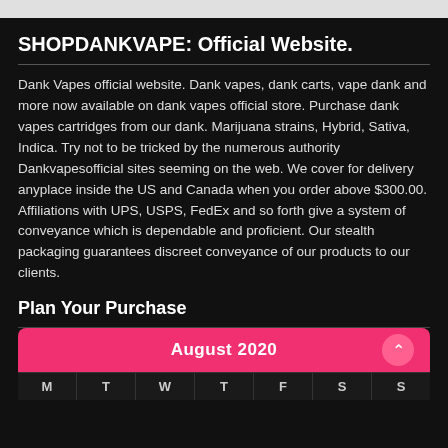SHOPDANKVAPE: Official Website.
Dank Vapes official website. Dank vapes, dank carts, vape dank and more now available on dank vapes official store. Purchase dank vapes cartridges from our dank. Marijuana strains, Hybrid, Sativa, Indica. Try not to be tricked by the numerous authority Dankvapesofficial sites seeming on the web. We cover for delivery anyplace inside the US and Canada when you order above $300.00. Affiliations with UPS, USPS, FedEx and so forth give a system of conveyance which is dependable and proficient. Our stealth packaging guarantees discreet conveyance of our products to our clients.
Plan Your Purchase
| M | T | W | T | F | S | S |
| --- | --- | --- | --- | --- | --- | --- |